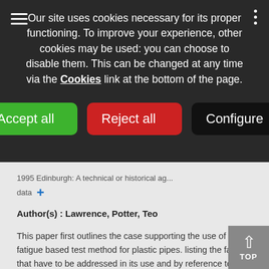Our site uses cookies necessary for its proper functioning. To improve your experience, other cookies may be used: you can choose to disable them. This can be changed at any time via the Cookies link at the bottom of the page.
[Figure (screenshot): Cookie consent overlay with Accept all (green), Reject all (red), and Configure (black) buttons on a dark semi-transparent background]
1995 Edinburgh: A technical or historical data +
Author(s) : Lawrence, Potter, Teo
This paper first outlines the case supporting the use of a fatigue based test method for plastic pipes. listing the factors that have to be addressed in its use and by reference to a large body of other work justifies its adoption into the pipe industry. It then presents further evidence that support the case that...